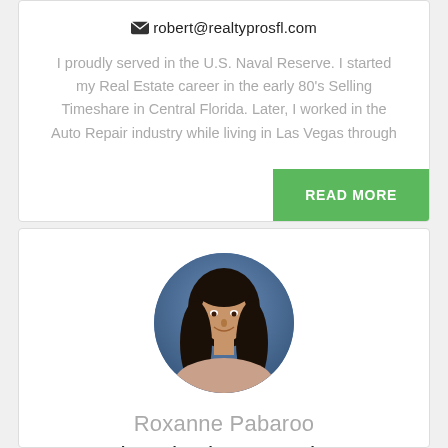robert@realtyprosfl.com
I proudly served in the U.S. Naval Reserve. I started my Real Estate career in the early 80’s Selling Timeshare in Central Florida. Later, I worked in the Auto Repair industry while living in Las Vegas through
READ MORE
[Figure (photo): Circular portrait photo of Roxanne Pabaroo, a woman with long dark hair, smiling, against a blue background]
Roxanne Pabaroo
Licensed Real Estate Associate